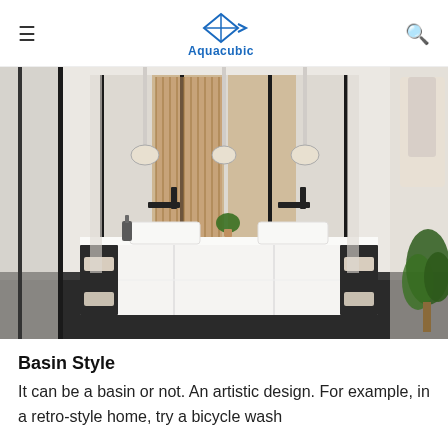Aquacubic
[Figure (photo): Modern double-sink bathroom vanity with white floating cabinet, open shelving, black faucets, large framed mirrors, pendant lights, marble walls, and dark tile floor. A green plant and white bathrobe are visible on the right side.]
Basin Style
It can be a basin or not. An artistic design. For example, in a retro-style home, try a bicycle wash